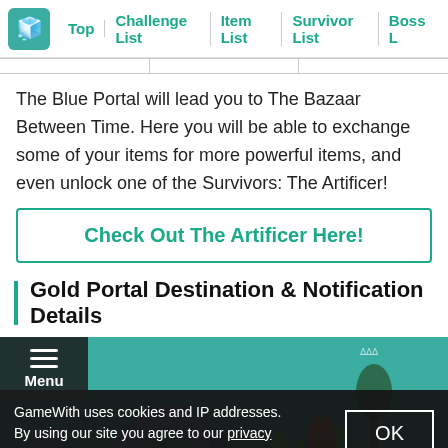Top | Challenge List | Item List | Survivor List | Boss L
The Blue Portal will lead you to The Bazaar Between Time. Here you will be able to exchange some of your items for more powerful items, and even unlock one of the Survivors: The Artificer!
Check Out The Artificer Here!
Gold Portal Destination & Notification Details
[Figure (screenshot): In-game screenshot showing a teal/green environment with portal arch, player characters, and alien landscape]
GameWith uses cookies and IP addresses. By using our site you agree to our privacy policy.